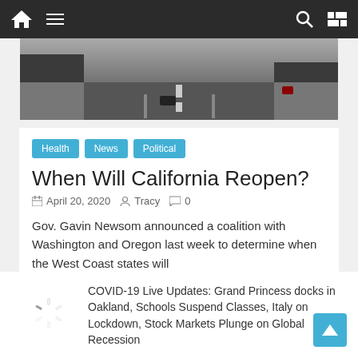Navigation bar with home, menu, search, and shuffle icons
[Figure (photo): Grayscale overhead/street view photo of an empty road or intersection]
Health
News
Political
When Will California Reopen?
April 20, 2020   Tracy   0
Gov. Gavin Newsom announced a coalition with Washington and Oregon last week to determine when the West Coast states will
[Figure (infographic): Social share buttons: Facebook, Twitter, Tumblr, Reddit, LinkedIn, Plus, Pinterest, More]
[Figure (illustration): Loading spinner / thumbnail placeholder icon]
COVID-19 Live Updates: Grand Princess docks in Oakland, Schools Suspend Classes, Italy on Lockdown, Stock Markets Plunge on Global Recession